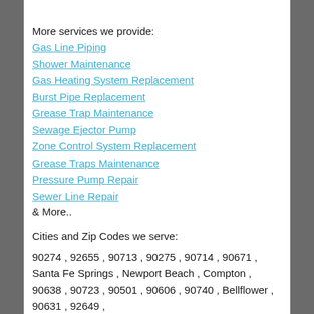More services we provide:
Gas Line Piping
Shower Maintenance
Gas Heating System Replacement
Burst Pipe Replacement
Grease Trap Maintenance
Sewage Ejector Pump
Zone Control System Replacement
Grease Traps Maintenance
Pressure Pump Repair
Sewer Line Repair
& More..
Cities and Zip Codes we serve:
90274 , 92655 , 90713 , 90275 , 90714 , 90671 , Santa Fe Springs , Newport Beach , Compton , 90638 , 90723 , 90501 , 90606 , 90740 , Bellflower , 90631 , 92649 ,